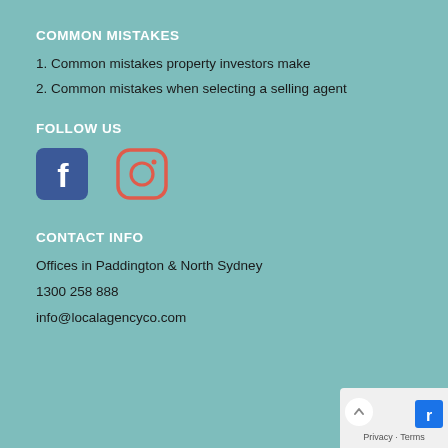COMMON MISTAKES
1. Common mistakes property investors make
2. Common mistakes when selecting a selling agent
FOLLOW US
[Figure (logo): Facebook and Instagram social media icons]
CONTACT INFO
Offices in Paddington & North Sydney
1300 258 888
info@localagencyco.com